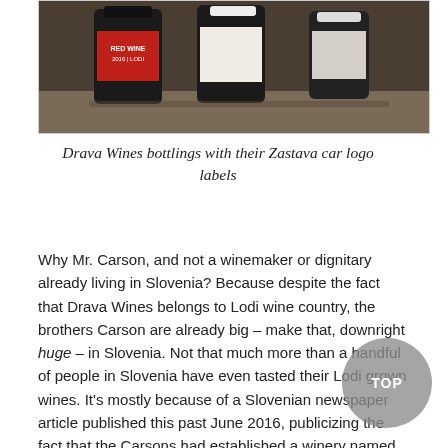[Figure (photo): Photo of Drava Wines wine bottles with Zastava car logo labels on a surface, showing dark-capped bottles with red and white labels]
Drava Wines bottlings with their Zastava car logo labels
Why Mr. Carson, and not a winemaker or dignitary already living in Slovenia? Because despite the fact that Drava Wines belongs to Lodi wine country, the brothers Carson are already big – make that, downright huge – in Slovenia. Not that much more than a handful of people in Slovenia have even tasted their Lodi grown wines. It's mostly because of a Slovenian newspaper article published this past June 2016, publicizing the fact that the Carsons had established a winery named after the country's beloved riverway, the Drava.